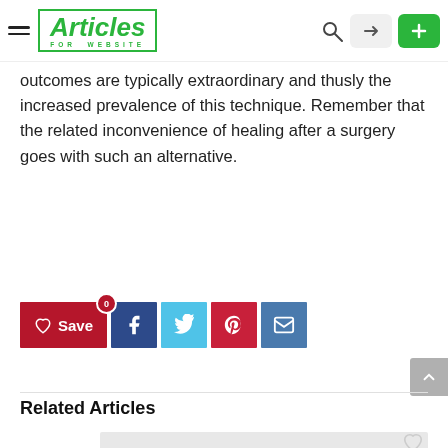Articles For Website — navigation bar with logo, search, login, add buttons
outcomes are typically extraordinary and thusly the increased prevalence of this technique. Remember that the related inconvenience of healing after a surgery goes with such an alternative.
[Figure (screenshot): Social sharing buttons: Save (heart, red background), Facebook (blue), Twitter (light blue), Pinterest (red), Mail (blue)]
Related Articles
[Figure (photo): Related article card image thumbnail (gray placeholder)]